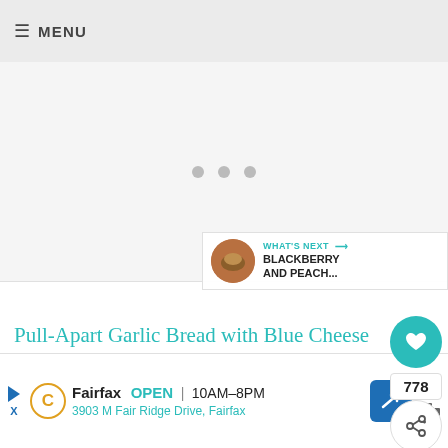≡ MENU
[Figure (photo): Large empty/loading image area with three grey loading dots in center]
778
WHAT'S NEXT → BLACKBERRY AND PEACH...
Pull-Apart Garlic Bread with Blue Cheese
Fairfax OPEN 10AM–8PM 3903 M Fair Ridge Drive, Fairfax